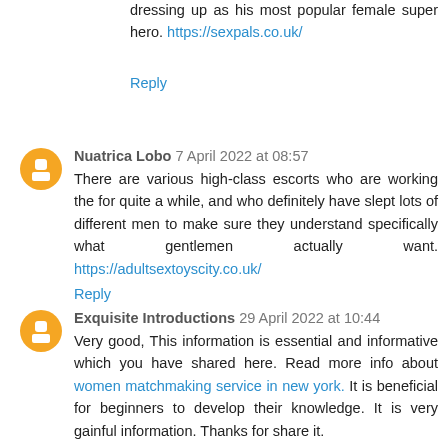dressing up as his most popular female super hero. https://sexpals.co.uk/
Reply
Nuatrica Lobo 7 April 2022 at 08:57
There are various high-class escorts who are working the for quite a while, and who definitely have slept lots of different men to make sure they understand specifically what gentlemen actually want. https://adultsextoyscity.co.uk/
Reply
Exquisite Introductions 29 April 2022 at 10:44
Very good, This information is essential and informative which you have shared here. Read more info about women matchmaking service in new york. It is beneficial for beginners to develop their knowledge. It is very gainful information. Thanks for share it.